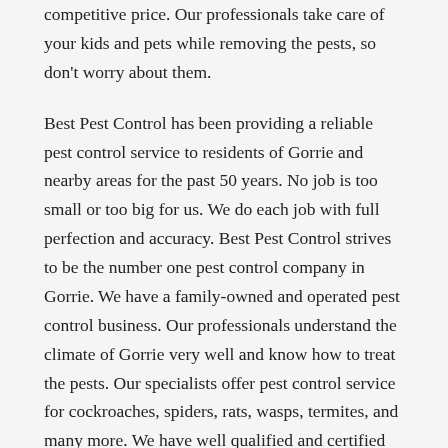competitive price. Our professionals take care of your kids and pets while removing the pests, so don't worry about them.
Best Pest Control has been providing a reliable pest control service to residents of Gorrie and nearby areas for the past 50 years. No job is too small or too big for us. We do each job with full perfection and accuracy. Best Pest Control strives to be the number one pest control company in Gorrie. We have a family-owned and operated pest control business. Our professionals understand the climate of Gorrie very well and know how to treat the pests. Our specialists offer pest control service for cockroaches, spiders, rats, wasps, termites, and many more. We have well qualified and certified professionals that deliver accurate and reliable service. Our customer support offers free quotes over the phone.